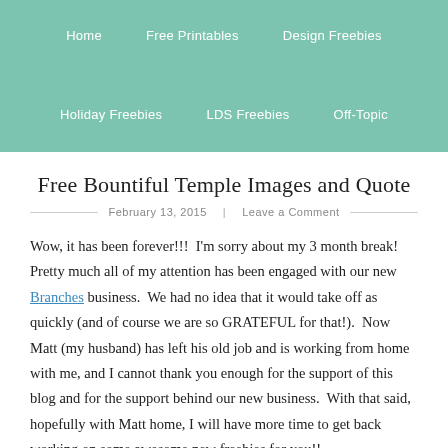Home   Free Printables   Design Freebies   Holiday Freebies   LDS Freebies   Off-Topic
Free Bountiful Temple Images and Quote
February 13, 2015 | Leave a Comment
Wow, it has been forever!!!  I'm sorry about my 3 month break!  Pretty much all of my attention has been engaged with our new Branches business.  We had no idea that it would take off as quickly (and of course we are so GRATEFUL for that!).  Now Matt (my husband) has left his old job and is working from home with me, and I cannot thank you enough for the support of this blog and for the support behind our new business.  With that said, hopefully with Matt home, I will have more time to get back working on some awesome new freebies for you!!